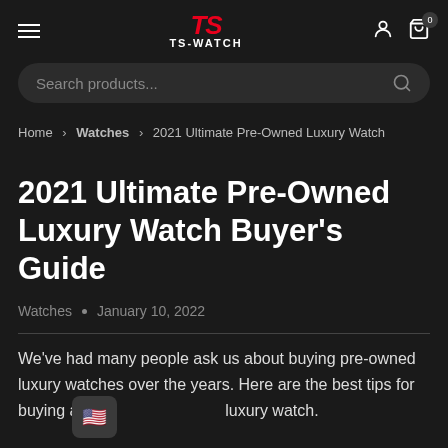TS-WATCH header with hamburger menu, logo, user icon, and cart icon
Search products...
Home > Watches > 2021 Ultimate Pre-Owned Luxury Watch
2021 Ultimate Pre-Owned Luxury Watch Buyer's Guide
Watches • January 10, 2022
We've had many people ask us about buying pre-owned luxury watches over the years. Here are the best tips for buying a pre-owned luxury watch.